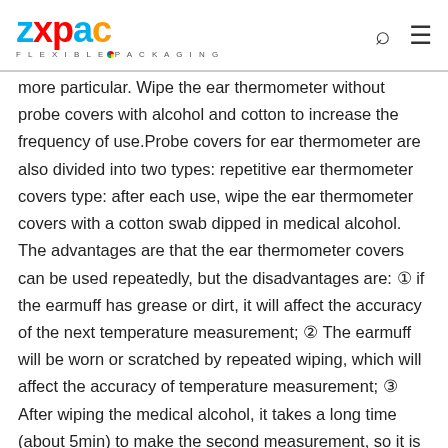ZXPAC FLEXIBLE PACKAGING
more particular. Wipe the ear thermometer without probe covers with alcohol and cotton to increase the frequency of use.Probe covers for ear thermometer are also divided into two types: repetitive ear thermometer covers type: after each use, wipe the ear thermometer covers with a cotton swab dipped in medical alcohol. The advantages are that the ear thermometer covers can be used repeatedly, but the disadvantages are: ① if the earmuff has grease or dirt, it will affect the accuracy of the next temperature measurement; ② The earmuff will be worn or scratched by repeated wiping, which will affect the accuracy of temperature measurement; ③ After wiping the medical alcohol, it takes a long time (about 5min) to make the second measurement, so it is